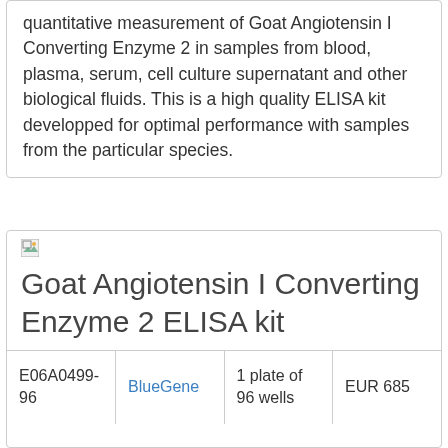quantitative measurement of Goat Angiotensin I Converting Enzyme 2 in samples from blood, plasma, serum, cell culture supernatant and other biological fluids. This is a high quality ELISA kit developped for optimal performance with samples from the particular species.
[Figure (other): Broken image icon (small thumbnail placeholder)]
Goat Angiotensin I Converting Enzyme 2 ELISA kit
| E06A0499-96 | BlueGene | 1 plate of 96 wells | EUR 685 |